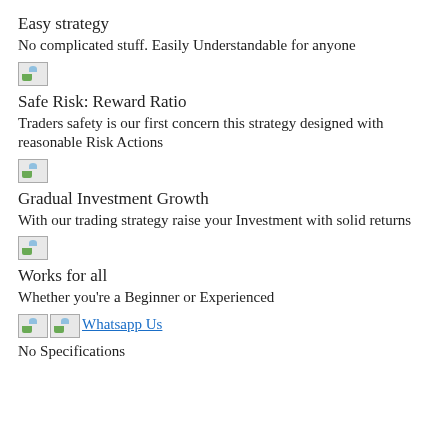Easy strategy
No complicated stuff. Easily Understandable for anyone
[Figure (illustration): Broken/placeholder image icon]
Safe Risk: Reward Ratio
Traders safety is our first concern this strategy designed with reasonable Risk Actions
[Figure (illustration): Broken/placeholder image icon]
Gradual Investment Growth
With our trading strategy raise your Investment with solid returns
[Figure (illustration): Broken/placeholder image icon]
Works for all
Whether you're a Beginner or Experienced
[Figure (illustration): Two broken/placeholder image icons with Whatsapp Us link]
No Specifications